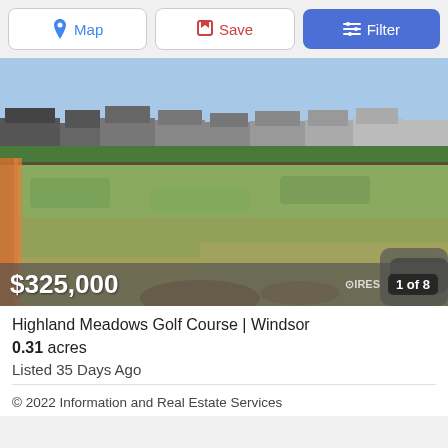[Figure (screenshot): Navigation buttons bar with Map, Save, and Filter buttons at the top of a real estate listing page]
[Figure (photo): Aerial/ground-level photo of an empty grassy lot in Highland Meadows Golf Course subdivision in Windsor, Colorado. Residential homes visible in background. Price overlay shows $325,000 and photo count 1 of 8. IRES watermark visible.]
Highland Meadows Golf Course | Windsor
0.31 acres
Listed 35 Days Ago
© 2022 Information and Real Estate Services